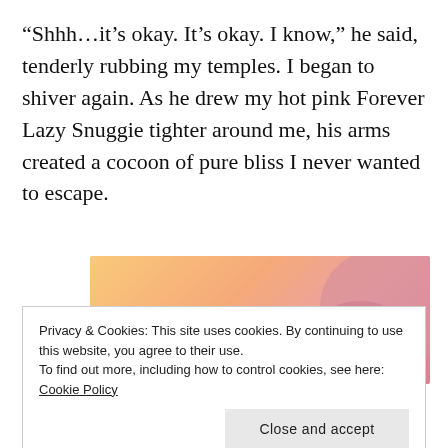“Shhh…it’s okay. It’s okay. I know,” he said, tenderly rubbing my temples. I began to shiver again. As he drew my hot pink Forever Lazy Snuggie tighter around me, his arms created a cocoon of pure bliss I never wanted to escape.
[Figure (other): Partial advertisement banner with colorful gradient background (orange, peach, pink) showing bold text 'WordPress in the back.' in large serif font]
Privacy & Cookies: This site uses cookies. By continuing to use this website, you agree to their use.
To find out more, including how to control cookies, see here: Cookie Policy

Close and accept